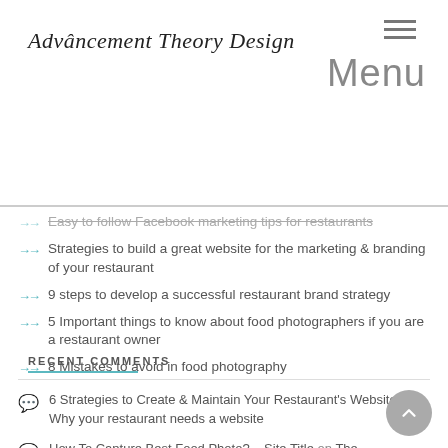Advâncement Theory Design
Easy to follow Facebook marketing tips for restaurants
Strategies to build a great website for the marketing & branding of your restaurant
9 steps to develop a successful restaurant brand strategy
5 Important things to know about food photographers if you are a restaurant owner
8 Mistakes to avoid in food photography
RECENT COMMENTS
6 Strategies to Create & Maintain Your Restaurant's Website on Why your restaurant needs a website
How To Capture Best Food Photo? – Site Title on The